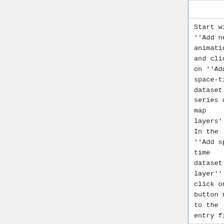|  | Start with ''Add new animation'' and click on ''Add space-time dataset or series of map layers''. In the ''Add space-time dataset layer'' click on a button next to the entry field and type | Start with ''Add new animation'' and click on ''Add space-time dataset or series of map layers''. In the ''Add space-time dataset layer'' click on a button next to the entry field and type |